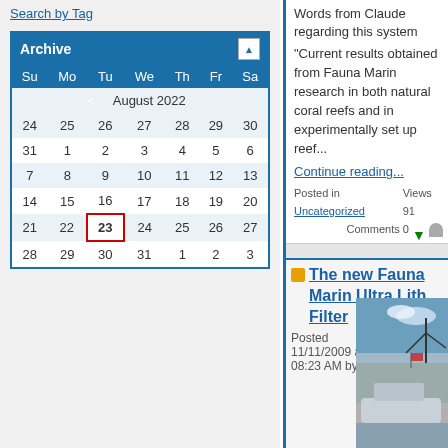Search by Tag
| Su | Mo | Tu | We | Th | Fr | Sa |
| --- | --- | --- | --- | --- | --- | --- |
| 24 | 25 | 26 | 27 | 28 | 29 | 30 |
| 31 | 1 | 2 | 3 | 4 | 5 | 6 |
| 7 | 8 | 9 | 10 | 11 | 12 | 13 |
| 14 | 15 | 16 | 17 | 18 | 19 | 20 |
| 21 | 22 | 23 | 24 | 25 | 26 | 27 |
| 28 | 29 | 30 | 31 | 1 | 2 | 3 |
Words from Claude regarding this system

"Current results obtained from Fauna Marin research in both natural coral reefs and in experimentally set up reef...
Continue reading...
Posted in Uncategorized Views 91 Comments 0
The new Fauna Marin Ultra Lith Filter
Posted 11/11/2009 at 08:23 AM by
[Figure (photo): Photo of a boat on water with bridge structure in background]